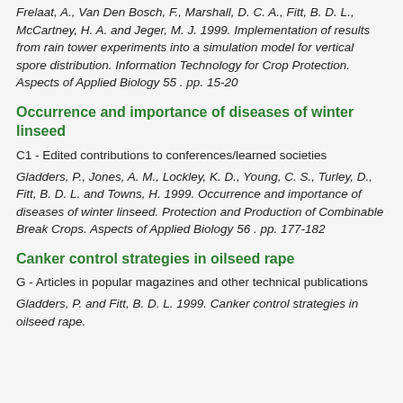Frelaat, A., Van Den Bosch, F., Marshall, D. C. A., Fitt, B. D. L., McCartney, H. A. and Jeger, M. J. 1999. Implementation of results from rain tower experiments into a simulation model for vertical spore distribution. Information Technology for Crop Protection. Aspects of Applied Biology 55 . pp. 15-20
Occurrence and importance of diseases of winter linseed
C1 - Edited contributions to conferences/learned societies
Gladders, P., Jones, A. M., Lockley, K. D., Young, C. S., Turley, D., Fitt, B. D. L. and Towns, H. 1999. Occurrence and importance of diseases of winter linseed. Protection and Production of Combinable Break Crops. Aspects of Applied Biology 56 . pp. 177-182
Canker control strategies in oilseed rape
G - Articles in popular magazines and other technical publications
Gladders, P. and Fitt, B. D. L. 1999. Canker control strategies in oilseed rape.